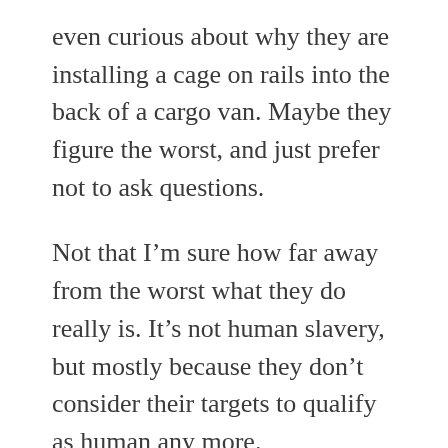even curious about why they are installing a cage on rails into the back of a cargo van. Maybe they figure the worst, and just prefer not to ask questions.
Not that I'm sure how far away from the worst what they do really is. It's not human slavery, but mostly because they don't consider their targets to qualify as human any more.
Whatever the hunters think, and how ever much they try to claim that it's just animal cunning, the vamps are still intelligent. A little alien maybe, but it's there. Though maybe that says more about how we view animals than it